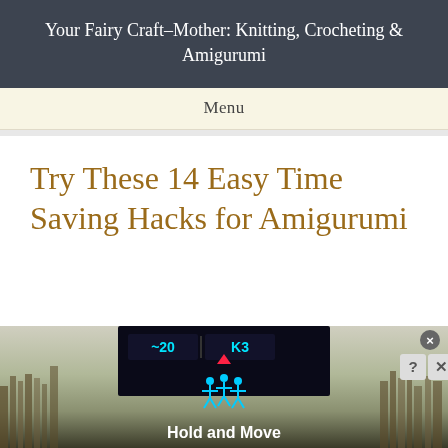Your Fairy Craft-Mother: Knitting, Crocheting & Amigurumi
Menu
Try These 14 Easy Time Saving Hacks for Amigurumi
[Figure (screenshot): Advertisement banner at bottom of page showing a sports scoreboard graphic with 'Hold and Move' text, close button and control icons in top right corner, with outdoor winter tree background.]